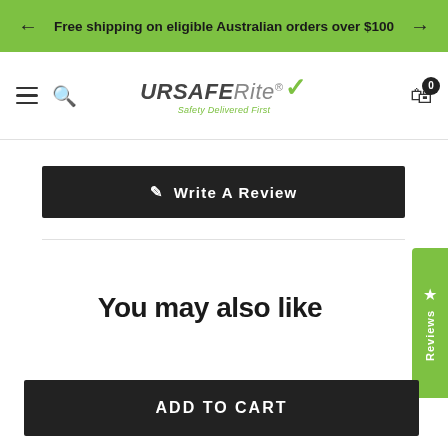Free shipping on eligible Australian orders over $100
[Figure (logo): URSAFERite logo with green checkmark and tagline 'Safety Delivered First']
✏ Write A Review
You may also like
ADD TO CART